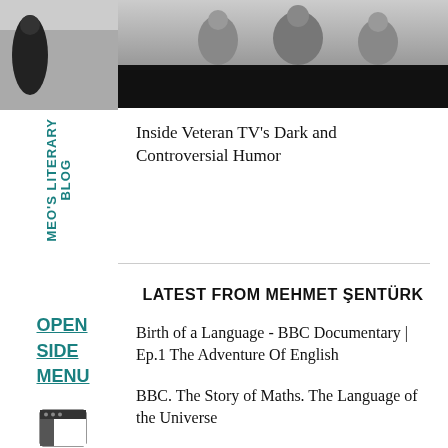[Figure (photo): Top image showing people outdoors, lower portion blacked out]
Inside Veteran TV&#39;s Dark and Controversial Humor
LATEST FROM MEHMET ŞENTÜRK
Birth of a Language - BBC Documentary | Ep.1 The Adventure Of English
BBC. The Story of Maths. The Language of the Universe
[Figure (logo): Small browser/window icon in sidebar]
MEO'S LITERARY BLOG
OPEN SIDE MENU